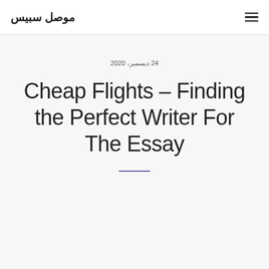موصل سبيس
24 ديسمبر، 2020
Cheap Flights – Finding the Perfect Writer For The Essay